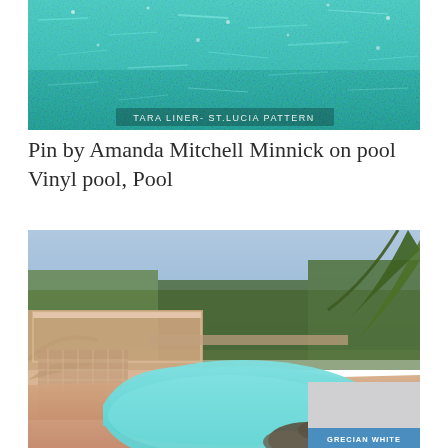[Figure (photo): Close-up of a swimming pool with turquoise water and a vinyl liner. Text overlay reads 'TARA LINER- ST.LUCIA PATTERN']
Pin by Amanda Mitchell Minnick on pool Vinyl pool, Pool
[Figure (photo): Outdoor freeform swimming pool with light blue water, surrounded by palm trees, a lattice-decorated structure, and large rocks. A color swatch in the bottom right corner labeled 'GRECIAN WHITE' shows a light grey color.]